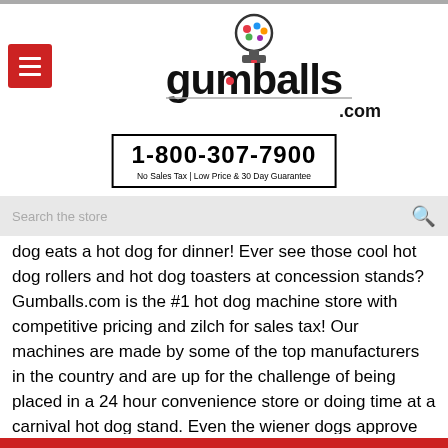[Figure (logo): Gumballs.com logo with gumball machine icon above stylized text 'gumballs.com']
1-800-307-7900
No Sales Tax | Low Price & 30 Day Guarantee
Search the store
dog eats a hot dog for dinner! Ever see those cool hot dog rollers and hot dog toasters at concession stands? Gumballs.com is the #1 hot dog machine store with competitive pricing and zilch for sales tax! Our machines are made by some of the top manufacturers in the country and are up for the challenge of being placed in a 24 hour convenience store or doing time at a carnival hot dog stand. Even the wiener dogs approve and watch for scraps. All of the hot dog carts and machines sold by Gumballs.com are professional grade and built to order brand new.